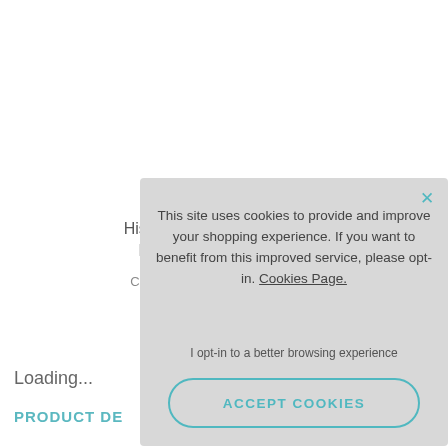His and Hers Rose Go
Circle of Love
Loading...
PRODUCT DE
[Figure (screenshot): Cookie consent modal overlay with text: 'This site uses cookies to provide and improve your shopping experience. If you want to benefit from this improved service, please opt-in. Cookies Page.' and a link 'I opt-in to a better browsing experience' and an ACCEPT COOKIES button. A teal X close button is in the top right corner.]